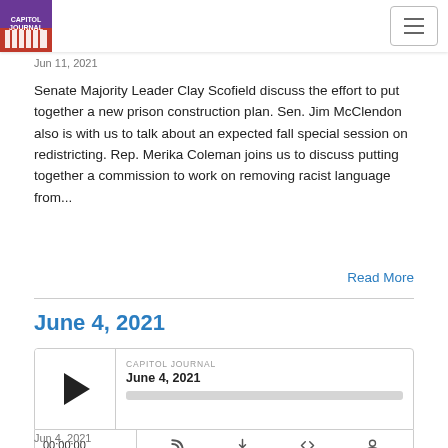Capitol Journal
Jun 11, 2021
Senate Majority Leader Clay Scofield discuss the effort to put together a new prison construction plan. Sen. Jim McClendon also is with us to talk about an expected fall special session on redistricting. Rep. Merika Coleman joins us to discuss putting together a commission to work on removing racist language from...
Read More
June 4, 2021
[Figure (other): Audio player widget for Capitol Journal episode June 4, 2021, with play button, progress bar, time counter 00:00:00 and control icons]
Jun 4, 2021